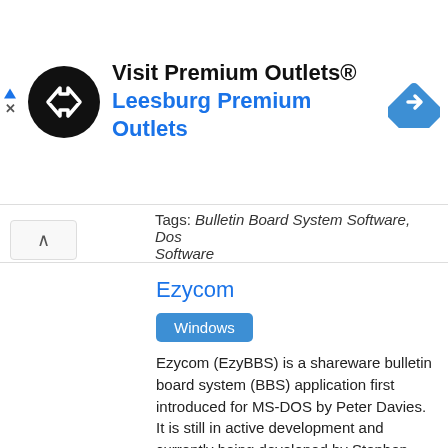[Figure (infographic): Advertisement banner: Visit Premium Outlets® with circular black logo containing double-arrow icon, 'Leesburg Premium Outlets' subtitle in blue, and blue diamond navigation icon on the right]
Tags: Bulletin Board System Software, Dos Software
Ezycom
Windows
Ezycom (EzyBBS) is a shareware bulletin board system (BBS) application first introduced for MS-DOS by Peter Davies. It is still in active development and currently being developed by Stephen Gibbs...
Latest version of Ezycom is v2.00 and it was released on 2003-03-05.
Tags: Bulletin Board System Software, Dos Software